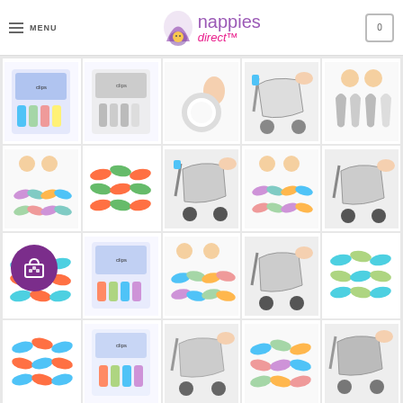nappies direct - MENU navigation header
[Figure (screenshot): E-commerce product gallery page for 'nappies direct' showing a grid of baby product images including stroller clips, teething rings, fish-shaped links in various colors, and stroller accessories. Products shown in 5-column grid layout with multiple rows.]